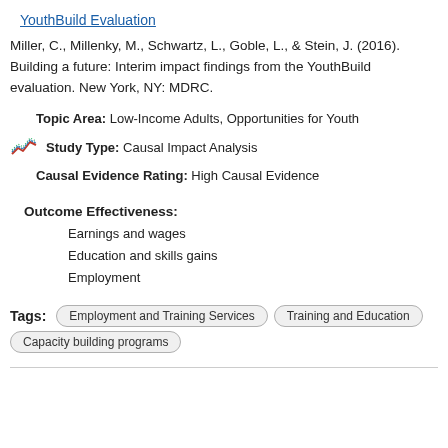YouthBuild Evaluation
Miller, C., Millenky, M., Schwartz, L., Goble, L., & Stein, J. (2016). Building a future: Interim impact findings from the YouthBuild evaluation. New York, NY: MDRC.
Topic Area: Low-Income Adults, Opportunities for Youth
Study Type: Causal Impact Analysis
Causal Evidence Rating: High Causal Evidence
Outcome Effectiveness:
Earnings and wages
Education and skills gains
Employment
Tags: Employment and Training Services | Training and Education | Capacity building programs